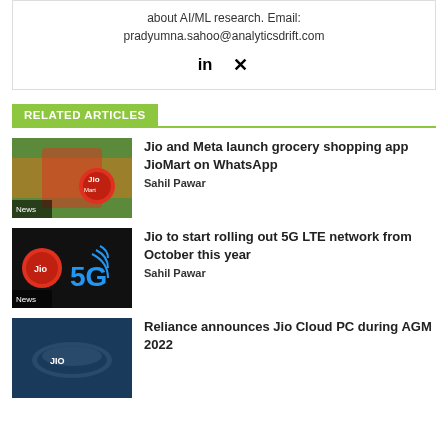about AI/ML research. Email: pradyumna.sahoo@analyticsdrift.com
[Figure (other): Social media icons: LinkedIn and Xing]
RELATED ARTICLES
[Figure (photo): Thumbnail image of JioMart grocery app with produce in background, News badge]
Jio and Meta launch grocery shopping app JioMart on WhatsApp
Sahil Pawar
[Figure (photo): Thumbnail image of Jio 5G logo on black background, News badge]
Jio to start rolling out 5G LTE network from October this year
Sahil Pawar
[Figure (photo): Thumbnail image of Jio Cloud PC device]
Reliance announces Jio Cloud PC during AGM 2022